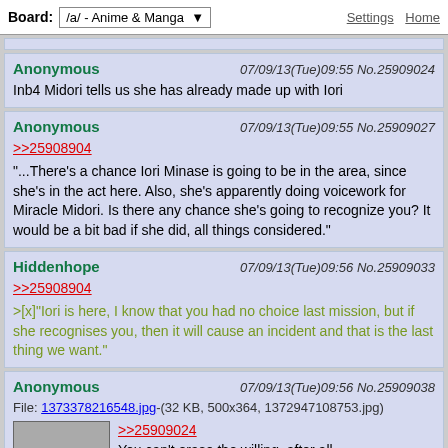Board: /a/ - Anime & Manga | Settings | Home
[top strip/separator]
Anonymous 07/09/13(Tue)09:55 No.25909024
Inb4 Midori tells us she has already made up with Iori
Anonymous 07/09/13(Tue)09:55 No.25909027
>>25908904
"...There's a chance Iori Minase is going to be in the area, since she's in the act here. Also, she's apparently doing voicework for Miracle Midori. Is there any chance she's going to recognize you? It would be a bit bad if she did, all things considered."
Hiddenhope 07/09/13(Tue)09:56 No.25909033
>>25908904
>[x]"Iori is here, I know that you had no choice last mission, but if she recognises you, then it will cause an incident and that is the last thing we want."
Anonymous 07/09/13(Tue)09:56 No.25909038
File: 1373378216548.jpg-(32 KB, 500x364, 1372947108753.jpg)
>>25909024
You can't erase the willing, after all.